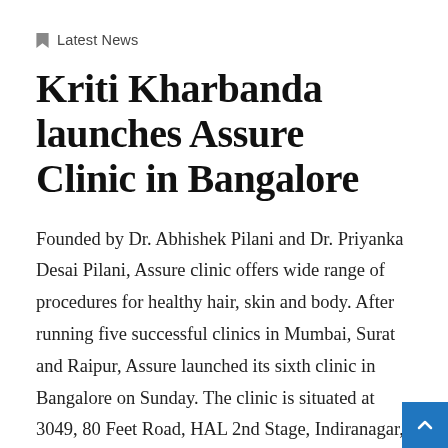Latest News
Kriti Kharbanda launches Assure Clinic in Bangalore
Founded by Dr. Abhishek Pilani and Dr. Priyanka Desai Pilani, Assure clinic offers wide range of procedures for healthy hair, skin and body. After running five successful clinics in Mumbai, Surat and Raipur, Assure launched its sixth clinic in Bangalore on Sunday. The clinic is situated at 3049, 80 Feet Road, HAL 2nd Stage, Indiranagar, Bangalore. The launch was done by Bollywood actress Kriti Kharbanda. Talking at the event, Kriti Kharbanda said, “I am happy to launch Assure clinic in Bangalore today. It’s nice to see the way